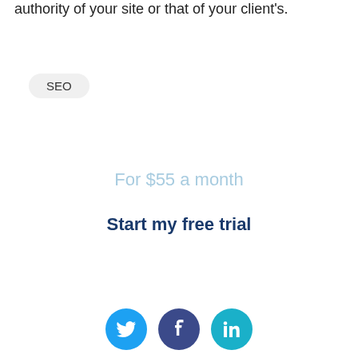authority of your site or that of your client's.
SEO
For $55 a month
Start my free trial
[Figure (other): Social media icons: Twitter (blue bird), Facebook (dark blue f), LinkedIn (teal in)]